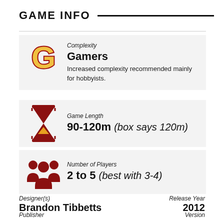GAME INFO
[Figure (infographic): Complexity icon: stylized letter G in gold/red Gamers style]
Complexity
Gamers
Increased complexity recommended mainly for hobbyists.
[Figure (infographic): Hourglass icon in dark red]
Game Length
90-120m (box says 120m)
[Figure (infographic): Group of people icon in dark red]
Number of Players
2 to 5 (best with 3-4)
Designer(s)
Brandon Tibbetts
Release Year
2012
Publisher
Version